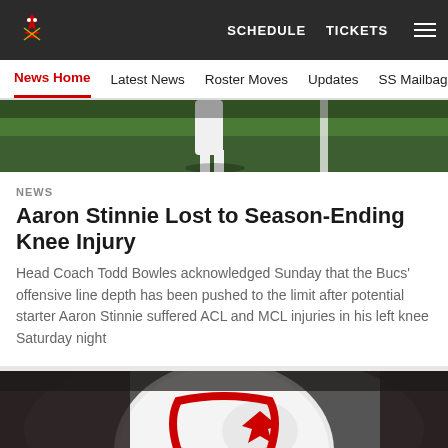Tampa Bay Buccaneers — SCHEDULE   TICKETS
News Home   Latest News   Roster Moves   Updates   SS Mailbag
[Figure (photo): Partial view of a football field with a player in white uniform visible from the waist down, standing on green grass near a white yard line]
NEWS
Aaron Stinnie Lost to Season-Ending Knee Injury
Head Coach Todd Bowles acknowledged Sunday that the Bucs' offensive line depth has been pushed to the limit after potential starter Aaron Stinnie suffered ACL and MCL injuries in his left knee Saturday night
[Figure (photo): Close-up partial view of a Tampa Bay Buccaneers helmet showing the team logo against a blurred dark background]
[Figure (infographic): Social share icons row: Facebook, Twitter, Email, and Link/chain icon, each in a circle outline]